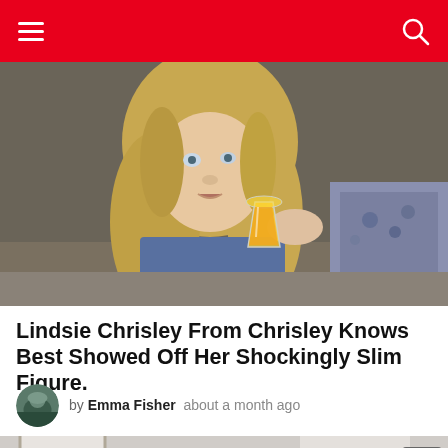Navigation header with hamburger menu and search icon
[Figure (photo): Blonde woman in denim shirt drinking orange juice from a glass, looking to the side. Indoor setting with gray wall and blue patterned cushion in background.]
Lindsie Chrisley From Chrisley Knows Best Showed Off Her Shockingly Slim Figure.
by Emma Fisher · about a month ago
[Figure (photo): Partial bottom image showing what appears to be a person with dark hair bun, framed artwork on wall behind, light gray background.]